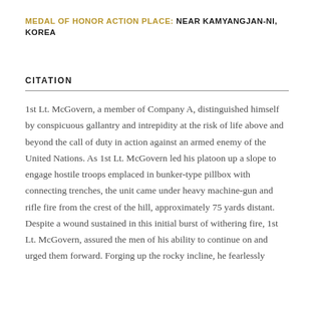MEDAL OF HONOR ACTION PLACE: NEAR KAMYANGJAN-NI, KOREA
CITATION
1st Lt. McGovern, a member of Company A, distinguished himself by conspicuous gallantry and intrepidity at the risk of life above and beyond the call of duty in action against an armed enemy of the United Nations. As 1st Lt. McGovern led his platoon up a slope to engage hostile troops emplaced in bunker-type pillbox with connecting trenches, the unit came under heavy machine-gun and rifle fire from the crest of the hill, approximately 75 yards distant. Despite a wound sustained in this initial burst of withering fire, 1st Lt. McGovern, assured the men of his ability to continue on and urged them forward. Forging up the rocky incline, he fearlessly